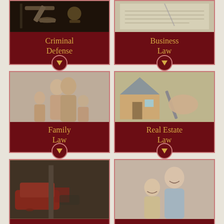[Figure (infographic): Law firm practice areas infographic grid. Row 1: Criminal Defense (gavel photo, dark red card with gold text, chevron button) and Business Law (documents photo, dark red card with gold text, chevron button). Row 2: Family Law (family photo, dark red card with gold text, chevron button) and Real Estate Law (house with hand signing documents, dark red card, chevron button). Row 3 (partial): Car accident photo and elderly man with child photo.]